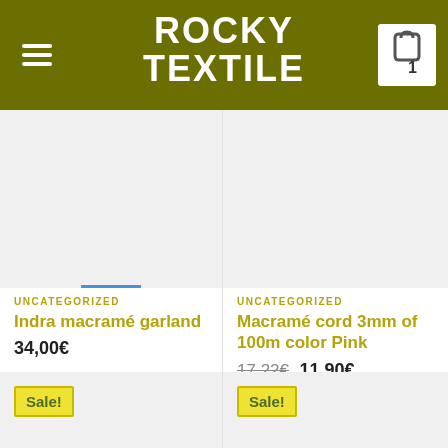ROCKY TEXTILE
[Figure (screenshot): Product image placeholder for Indra macramé garland, light gray background]
[Figure (screenshot): Product image placeholder for Macramé cord 3mm of 100m color Pink, light gray background]
UNCATEGORIZED
Indra macramé garland
34,00€
UNCATEGORIZED
Macramé cord 3mm of 100m color Pink
17,22€  11,90€
[Figure (screenshot): Product image placeholder with Sale! badge, light gray background]
[Figure (screenshot): Product image placeholder with Sale! badge, light gray background]